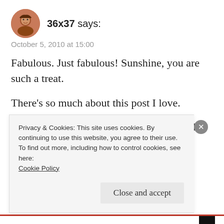[Figure (photo): Round avatar photo of a woman with reddish-brown hair]
36x37 says:
October 5, 2010 at 15:00
Fabulous. Just fabulous! Sunshine, you are such a treat.
There’s so much about this post I love.
1) “Is this tomorrow?” hahaha. Ollie and I have this conversation every day.
Privacy & Cookies: This site uses cookies. By continuing to use this website, you agree to their use.
To find out more, including how to control cookies, see here:
Cookie Policy
Close and accept